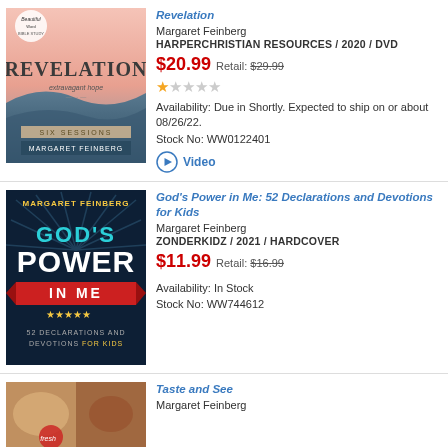[Figure (photo): Book cover for Revelation by Margaret Feinberg - pink/blue cover with 'SIX SESSIONS' label]
Margaret Feinberg
HARPERCHRISTIAN RESOURCES / 2020 / DVD
$20.99 Retail: $29.99
★☆☆☆☆
Availability: Due in Shortly. Expected to ship on or about 08/26/22.
Stock No: WW0122401
Video
[Figure (photo): Book cover for God's Power in Me: 52 Declarations and Devotions for Kids by Margaret Feinberg - dark background with teal and white text]
God's Power in Me: 52 Declarations and Devotions for Kids
Margaret Feinberg
ZONDERKIDZ / 2021 / HARDCOVER
$11.99 Retail: $16.99
Availability: In Stock
Stock No: WW744612
[Figure (photo): Book cover for Taste and See by Margaret Feinberg - food photography]
Taste and See
Margaret Feinberg